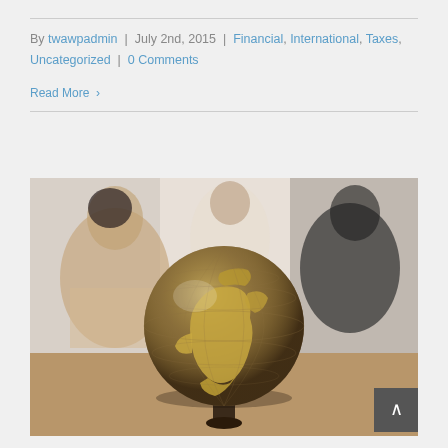By twawpadmin | July 2nd, 2015 | Financial, International, Taxes, Uncategorized | 0 Comments
Read More >
[Figure (photo): A golden globe on a stand in the foreground, with blurred people sitting around a table in the background. Office/meeting room setting.]